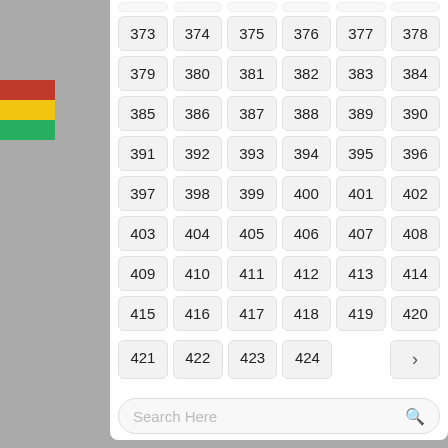[Figure (screenshot): A numbered grid/pagination interface showing numbers 373-424 in rounded rectangular cells arranged in a 6-column grid, with a search bar at the bottom and a next-page arrow button. The background has red, yellow, and green horizontal stripes on the sides.]